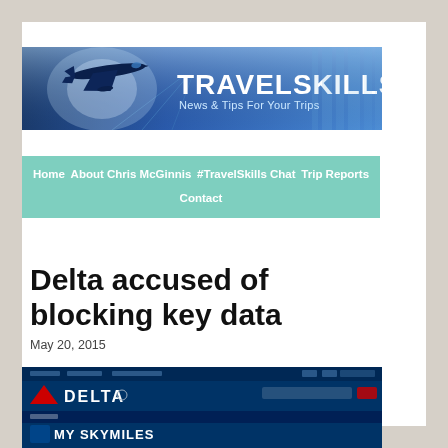[Figure (logo): TravelSkills banner with airplane image and text 'TRAVELSKILLS News & Tips For Your Trips' on blue background]
Home   About Chris McGinnis   #TravelSkills Chat   Trip Reports   Contact
Delta accused of blocking key data
May 20, 2015
[Figure (screenshot): Delta.com website screenshot showing Delta logo and My SkyMiles section]